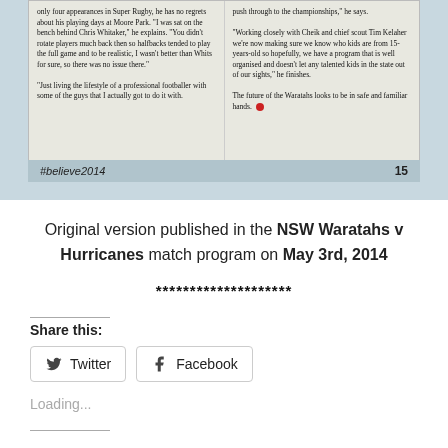[Figure (photo): Scanned newspaper page showing two columns of article text with '#believe2014' footer and page number 15, on a light blue-grey background.]
Original version published in the NSW Waratahs v Hurricanes match program on May 3rd, 2014
********************
Share this:
Twitter  Facebook
Loading...